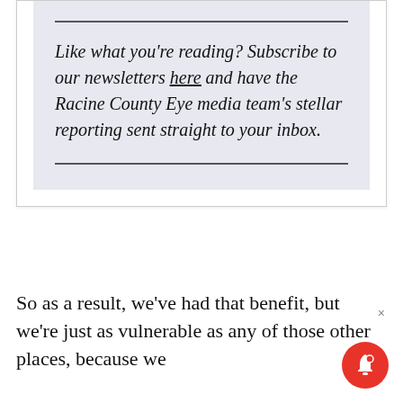Like what you're reading? Subscribe to our newsletters here and have the Racine County Eye media team's stellar reporting sent straight to your inbox.
So as a result, we've had that benefit, but we're just as vulnerable as any of those other places, because we